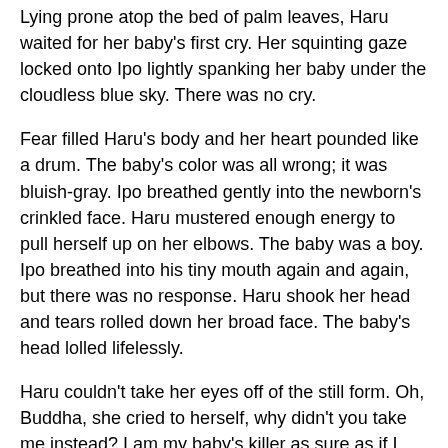Lying prone atop the bed of palm leaves, Haru waited for her baby's first cry. Her squinting gaze locked onto Ipo lightly spanking her baby under the cloudless blue sky. There was no cry.
Fear filled Haru's body and her heart pounded like a drum. The baby's color was all wrong; it was bluish-gray. Ipo breathed gently into the newborn's crinkled face. Haru mustered enough energy to pull herself up on her elbows. The baby was a boy. Ipo breathed into his tiny mouth again and again, but there was no response. Haru shook her head and tears rolled down her broad face. The baby's head lolled lifelessly.
Haru couldn't take her eyes off of the still form. Oh, Buddha, she cried to herself, why didn't you take me instead? I am my baby's killer as sure as if I had dashed him against the lava rocks of Mauna Kea.